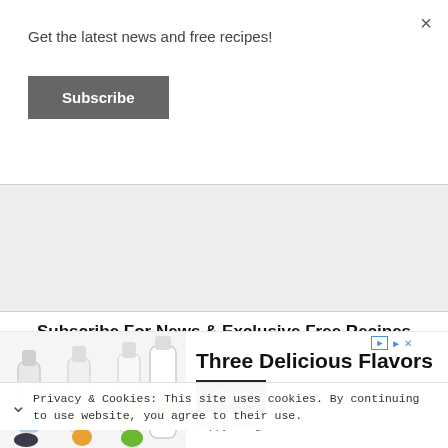Get the latest news and free recipes!
Subscribe
[Figure (other): Gray empty advertisement placeholder area]
Subscribe For News & Exclusive Free Recipes
Privacy & Cookies: This site uses cookies. By continuing to use website, you agree to their use.
d out more, including how to control cookies, see here: Cookie
[Figure (other): Advertisement banner for 'happy being' drink brand showing three milk bottles. Text: Three Delicious Flavors. happy being. Open button.]